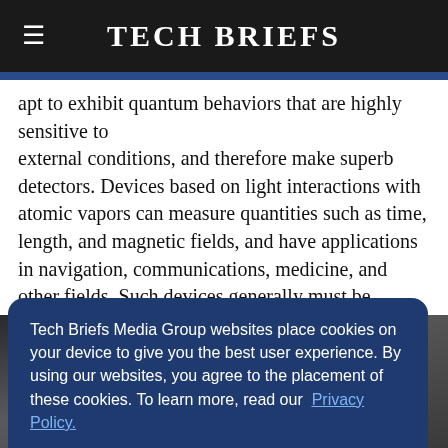Tech Briefs
apt to exhibit quantum behaviors that are highly sensitive to external conditions, and therefore make superb detectors. Devices based on light interactions with atomic vapors can measure quantities such as time, length, and magnetic fields, and have applications in navigation, communications, medicine, and other fields. Such devices generally must be assembled by hand.
[Figure (photo): Close-up photo of electronic or mechanical components, partially obscured by a cookie consent dialog overlay.]
Tech Briefs Media Group websites place cookies on your device to give you the best user experience. By using our websites, you agree to the placement of these cookies. To learn more, read our Privacy Policy.
Accept & Continue